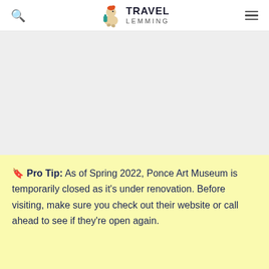Travel Lemming
[Figure (other): Advertisement or empty gray placeholder area]
🔖 Pro Tip: As of Spring 2022, Ponce Art Museum is temporarily closed as it's under renovation. Before visiting, make sure you check out their website or call ahead to see if they're open again.